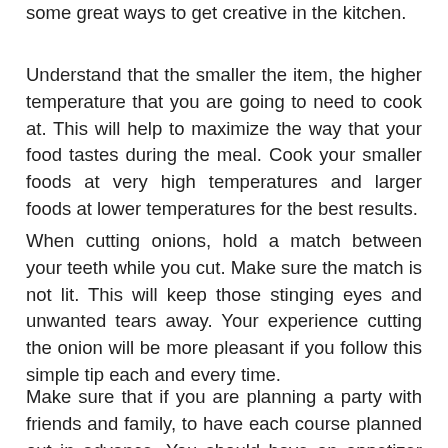some great ways to get creative in the kitchen.
Understand that the smaller the item, the higher temperature that you are going to need to cook at. This will help to maximize the way that your food tastes during the meal. Cook your smaller foods at very high temperatures and larger foods at lower temperatures for the best results.
When cutting onions, hold a match between your teeth while you cut. Make sure the match is not lit. This will keep those stinging eyes and unwanted tears away. Your experience cutting the onion will be more pleasant if you follow this simple tip each and every time.
Make sure that if you are planning a party with friends and family, to have each course planned out in advance. You should have an appetizer course, salad course,